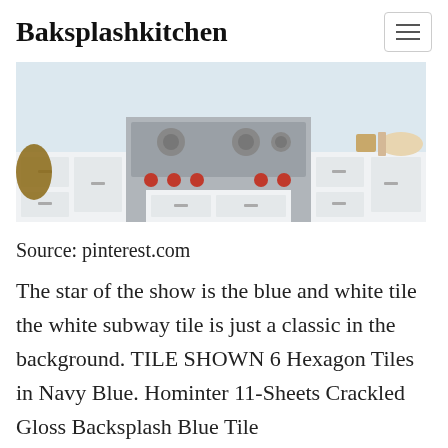Baksplashkitchen
[Figure (photo): Kitchen photo showing white cabinets, stainless steel range with red knobs, and white countertops]
Source: pinterest.com
The star of the show is the blue and white tile the white subway tile is just a classic in the background. TILE SHOWN 6 Hexagon Tiles in Navy Blue. Hominter 11-Sheets Crackled Gloss Backsplash Blue Tile...